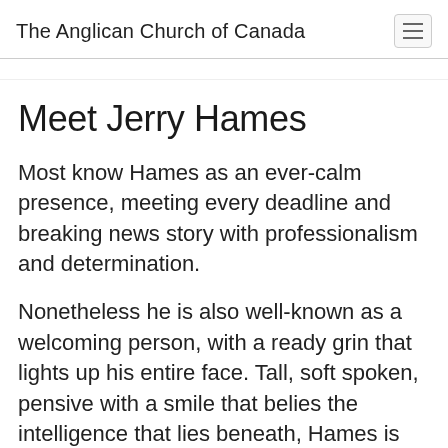The Anglican Church of Canada
Meet Jerry Hames
Most know Hames as an ever-calm presence, meeting every deadline and breaking news story with professionalism and determination.
Nonetheless he is also well-known as a welcoming person, with a ready grin that lights up his entire face. Tall, soft spoken, pensive with a smile that belies the intelligence that lies beneath, Hames is Canadian by birth and still has family in Canada. At 67 years old, he has lived in the United States since